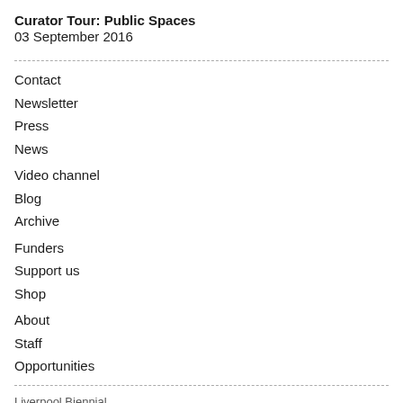Curator Tour: Public Spaces
03 September 2016
Contact
Newsletter
Press
News
Video channel
Blog
Archive
Funders
Support us
Shop
About
Staff
Opportunities
Liverpool Biennial
55 New Bird Street
Liverpool L1 0BW